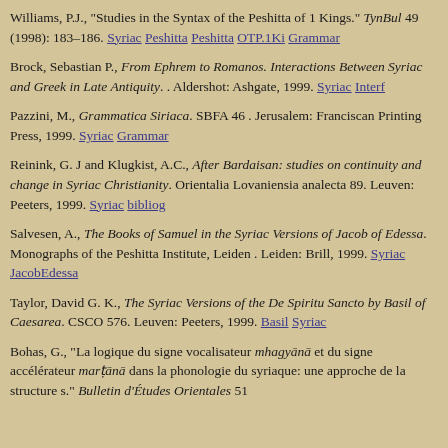Williams, P.J., "Studies in the Syntax of the Peshitta of 1 Kings." TynBul 49 (1998): 183–186. Syriac Peshitta Peshitta OTP.1Ki Grammar
Brock, Sebastian P., From Ephrem to Romanos. Interactions Between Syriac and Greek in Late Antiquity. . Aldershot: Ashgate, 1999. Syriac Interf
Pazzini, M., Grammatica Siriaca. SBFA 46 . Jerusalem: Franciscan Printing Press, 1999. Syriac Grammar
Reinink, G. J and Klugkist, A.C., After Bardaisan: studies on continuity and change in Syriac Christianity. Orientalia Lovaniensia analecta 89. Leuven: Peeters, 1999. Syriac bibliog
Salvesen, A., The Books of Samuel in the Syriac Versions of Jacob of Edessa. Monographs of the Peshitta Institute, Leiden . Leiden: Brill, 1999. Syriac JacobEdessa
Taylor, David G. K., The Syriac Versions of the De Spiritu Sancto by Basil of Caesarea. CSCO 576. Leuven: Peeters, 1999. Basil Syriac
Bohas, G., "La logique du signe vocalisateur mhagyānā et du signe accélérateur marṭānā dans la phonologie du syriaque: une approche de la structure s." Bulletin d'Études Orientales 51